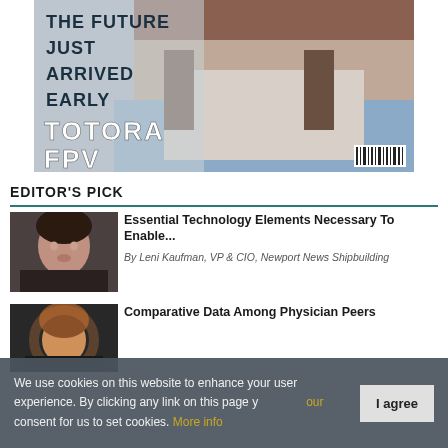[Figure (photo): Magazine cover showing a bearded man with text 'THE FUTURE JUST ARRIVED EARLY' and 'TOTORA FPV' with a barcode in the bottom right]
EDITOR'S PICK
[Figure (photo): Thumbnail photo of Leni Kaufman, a woman with dark hair]
Essential Technology Elements Necessary To Enable... By Leni Kaufman, VP & CIO, Newport News Shipbuilding
[Figure (photo): Thumbnail photo of a person for the Comparative Data Among Physician Peers article]
Comparative Data Among Physician Peers
We use cookies on this website to enhance your user experience. By clicking any link on this page you give your consent for us to set cookies. More info